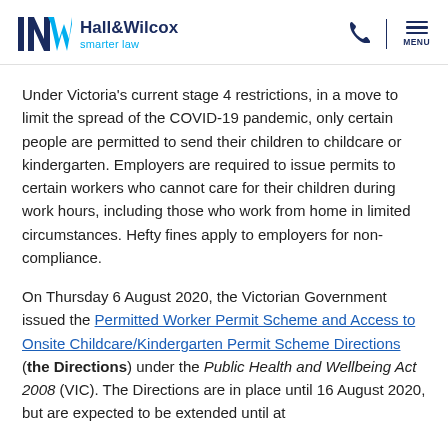Hall&Wilcox smarter law
Under Victoria's current stage 4 restrictions, in a move to limit the spread of the COVID-19 pandemic, only certain people are permitted to send their children to childcare or kindergarten. Employers are required to issue permits to certain workers who cannot care for their children during work hours, including those who work from home in limited circumstances. Hefty fines apply to employers for non-compliance.
On Thursday 6 August 2020, the Victorian Government issued the Permitted Worker Permit Scheme and Access to Onsite Childcare/Kindergarten Permit Scheme Directions (the Directions) under the Public Health and Wellbeing Act 2008 (VIC). The Directions are in place until 16 August 2020, but are expected to be extended until at